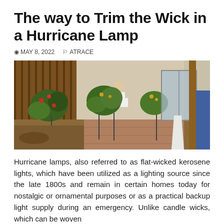The way to Trim the Wick in a Hurricane Lamp
MAY 8, 2022   ATRACE
[Figure (photo): Outdoor patio/garden area with a person working among potted plants on metal stands, a wooden fence in the background, a house with sliding glass door, and various garden items. A small hurricane lamp is visible in the lower left.]
Hurricane lamps, also referred to as flat-wicked kerosene lights, which have been utilized as a lighting source since the late 1800s and remain in certain homes today for nostalgic or ornamental purposes or as a practical backup light supply during an emergency. Unlike candle wicks, which can be woven